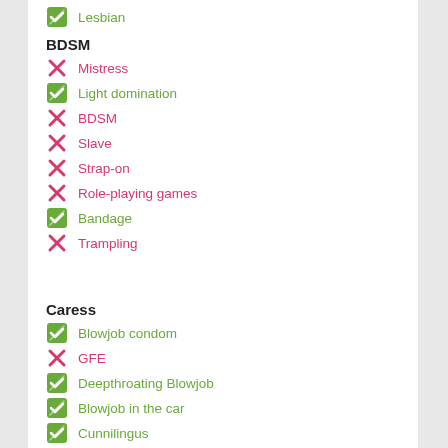✔ Lesbian
BDSM
✗ Mistress
✔ Light domination
✗ BDSM
✗ Slave
✗ Strap-on
✗ Role-playing games
✔ Bandage
✗ Trampling
Caress
✔ Blowjob condom
✗ GFE
✔ Deepthroating Blowjob
✔ Blowjob in the car
✔ Cunnilingus
✗ Anilingus